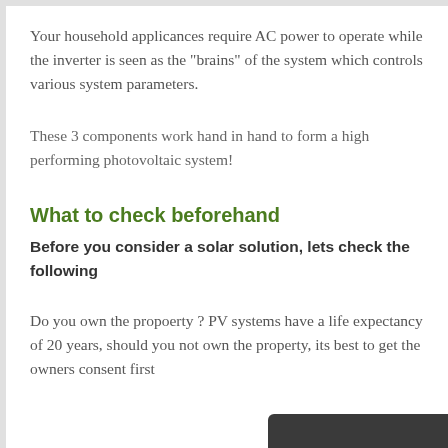Your household applicances require AC power to operate while the inverter is seen as the "brains" of the system which controls various system parameters.
These 3 components work hand in hand to form a high performing photovoltaic system!
What to check beforehand
Before you consider a solar solution, lets check the following
Do you own the propoerty ? PV systems have a life expectancy of 20 years, should you not own the property, its best to get the owners consent first